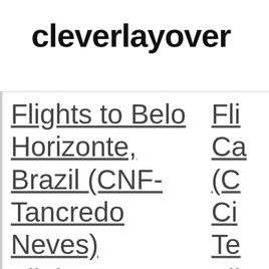cleverlayover
Flights to Belo Horizonte, Brazil (CNF-Tancredo Neves)
Flights to
Fli Ca (C Ci Te
Fli